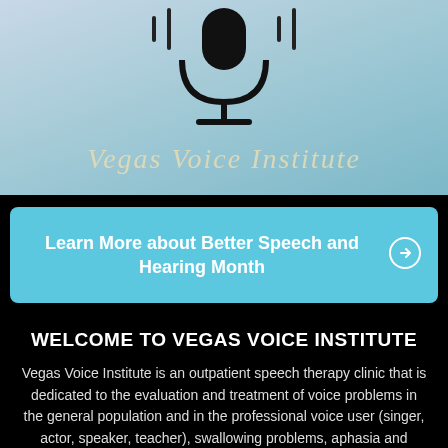[Figure (logo): Vegas Voice Institute logo with microphone icon and stylized 'Vegas Voice Institute' text on a teal/blue-grey gradient background]
Learn More about Better Speech and Hearing Month →
WELCOME TO VEGAS VOICE INSTITUTE
Vegas Voice Institute is an outpatient speech therapy clinic that is dedicated to the evaluation and treatment of voice problems in the general population and in the professional voice user (singer, actor, speaker, teacher), swallowing problems, aphasia and cognitive-memory problems. We offer some general speech services such as stuttering, accent modification, and articulation problems but our